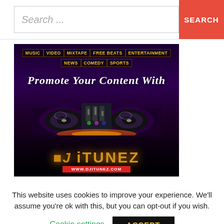Search...  SEARCH
[Figure (illustration): DJ iTUNEZ website banner advertisement. Dark purple/black background with DJ turntable equipment. Top navigation menu shows: MUSIC | VIDEO | MIXTAPE | FREE BEATS | ENTERTAINMENT | NEWS | COMEDY | SPORTS. Italic text reads 'Promote Your Content With'. Bottom shows the DJ iTUNEZ logo in gold and the URL www.djitunez.com in red.]
This website uses cookies to improve your experience. We'll assume you're ok with this, but you can opt-out if you wish.
Cookie settings   ACCEPT